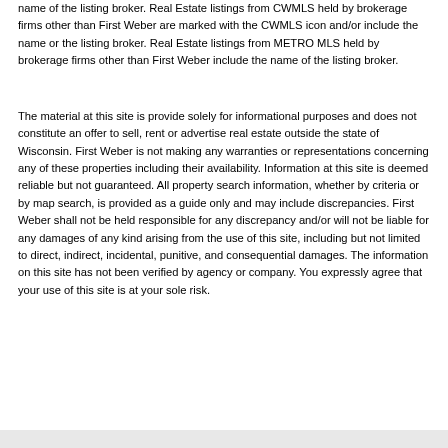name of the listing broker. Real Estate listings from CWMLS held by brokerage firms other than First Weber are marked with the CWMLS icon and/or include the name or the listing broker. Real Estate listings from METRO MLS held by brokerage firms other than First Weber include the name of the listing broker.
The material at this site is provide solely for informational purposes and does not constitute an offer to sell, rent or advertise real estate outside the state of Wisconsin. First Weber is not making any warranties or representations concerning any of these properties including their availability. Information at this site is deemed reliable but not guaranteed. All property search information, whether by criteria or by map search, is provided as a guide only and may include discrepancies. First Weber shall not be held responsible for any discrepancy and/or will not be liable for any damages of any kind arising from the use of this site, including but not limited to direct, indirect, incidental, punitive, and consequential damages. The information on this site has not been verified by agency or company. You expressly agree that your use of this site is at your sole risk.